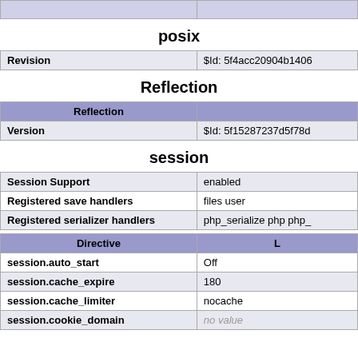|  |  |
| --- | --- |
| posix top partial row |  |
posix
| Revision | $Id: 5f4acc20904b1406... |
| --- | --- |
| Revision | $Id: 5f4acc20904b1406... |
Reflection
| Reflection |  |
| --- | --- |
| Version | $Id: 5f15287237d5f78d... |
session
| Session Support | enabled |
| Registered save handlers | files user |
| Registered serializer handlers | php_serialize php php_ |
| Directive | L |
| --- | --- |
| session.auto_start | Off |
| session.cache_expire | 180 |
| session.cache_limiter | nocache |
| session.cookie_domain | no value |